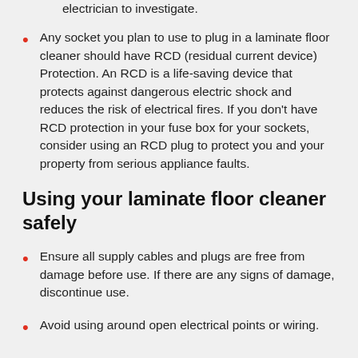electrician to investigate.
Any socket you plan to use to plug in a laminate floor cleaner should have RCD (residual current device) Protection. An RCD is a life-saving device that protects against dangerous electric shock and reduces the risk of electrical fires. If you don't have RCD protection in your fuse box for your sockets, consider using an RCD plug to protect you and your property from serious appliance faults.
Using your laminate floor cleaner safely
Ensure all supply cables and plugs are free from damage before use. If there are any signs of damage, discontinue use.
Avoid using around open electrical points or wiring.